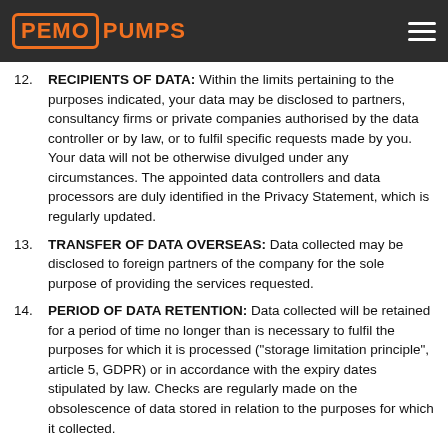PEMO PUMPS
RECIPIENTS OF DATA: Within the limits pertaining to the purposes indicated, your data may be disclosed to partners, consultancy firms or private companies authorised by the data controller or by law, or to fulfil specific requests made by you. Your data will not be otherwise divulged under any circumstances. The appointed data controllers and data processors are duly identified in the Privacy Statement, which is regularly updated.
TRANSFER OF DATA OVERSEAS: Data collected may be disclosed to foreign partners of the company for the sole purpose of providing the services requested.
PERIOD OF DATA RETENTION: Data collected will be retained for a period of time no longer than is necessary to fulfil the purposes for which it is processed (“storage limitation principle”, article 5, GDPR) or in accordance with the expiry dates stipulated by law. Checks are regularly made on the obsolescence of data stored in relation to the purposes for which it collected.